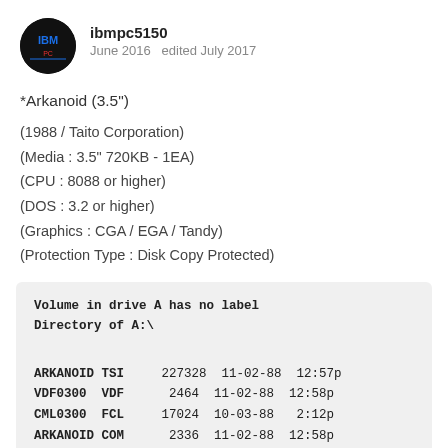ibmpc5150
June 2016  edited July 2017
*Arkanoid (3.5")
(1988 / Taito Corporation)
(Media : 3.5" 720KB - 1EA)
(CPU : 8088 or higher)
(DOS : 3.2 or higher)
(Graphics : CGA / EGA / Tandy)
(Protection Type : Disk Copy Protected)
| Name | Ext | Size | Date | Time |
| --- | --- | --- | --- | --- |
| ARKANOID | TSI | 227328 | 11-02-88 | 12:57p |
| VDF0300 | VDF | 2464 | 11-02-88 | 12:58p |
| CML0300 | FCL | 17024 | 10-03-88 | 2:12p |
| ARKANOID | COM | 2336 | 11-02-88 | 12:58p |
|  |  | 4 File(s) | 479232 bytes free |  |